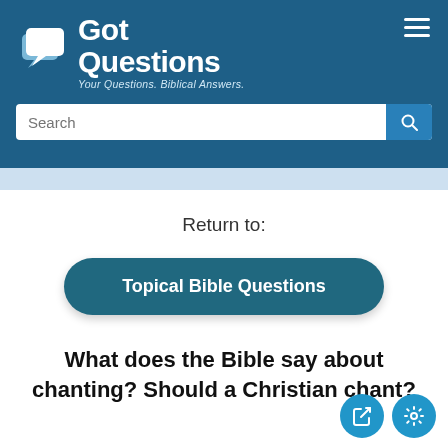[Figure (logo): GotQuestions logo with speech bubble icons and text 'Got Questions — Your Questions. Biblical Answers.']
Return to:
Topical Bible Questions
What does the Bible say about chanting? Should a Christian chant?